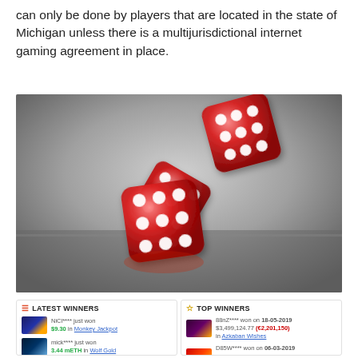can only be done by players that are located in the state of Michigan unless there is a multijurisdictional internet gaming agreement in place.
[Figure (photo): Three translucent red dice falling/tumbling in the air above a reflective dark surface, with reflections visible below.]
LATEST WINNERS: NiCl**** just won $9.30 in Monkey Jackpot. mick**** just won 3.44 mETH in Wolf Gold.
TOP WINNERS: 88nZ**** won on 18-05-2019 $3,499,124.77 (€2,201,150) in Azkaban Wishes. D85W**** won on 06-03-2019 $1,376,221.79 (384.24 BTC) in Slotomon Go.